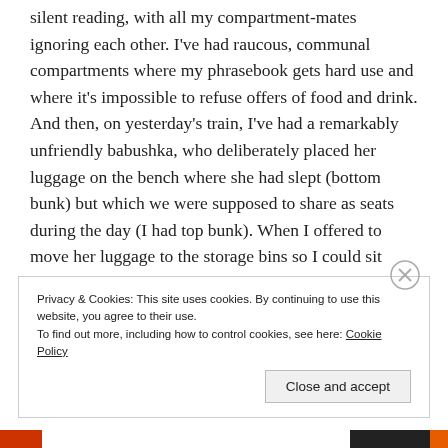silent reading, with all my compartment-mates ignoring each other. I've had raucous, communal compartments where my phrasebook gets hard use and where it's impossible to refuse offers of food and drink. And then, on yesterday's train, I've had a remarkably unfriendly babushka, who deliberately placed her luggage on the bench where she had slept (bottom bunk) but which we were supposed to share as seats during the day (I had top bunk). When I offered to move her luggage to the storage bins so I could sit down, she growled at me and pointed to my cramped bunk. Feh.
Privacy & Cookies: This site uses cookies. By continuing to use this website, you agree to their use.
To find out more, including how to control cookies, see here: Cookie Policy
Close and accept